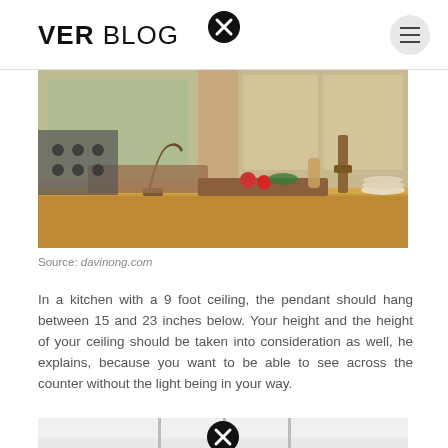VER BLOG
[Figure (photo): Kitchen interior with dark bronze faucet, marble countertop, tomatoes and herbs on a wooden cutting board, decorative wooden candlestick, and stacked plates in warm amber tones.]
Source: davinong.com
In a kitchen with a 9 foot ceiling, the pendant should hang between 15 and 23 inches below. Your height and the height of your ceiling should be taken into consideration as well, he explains, because you want to be able to see across the counter without the light being in your way.
[Figure (photo): Pendant lights hanging from a white ceiling over a kitchen counter.]